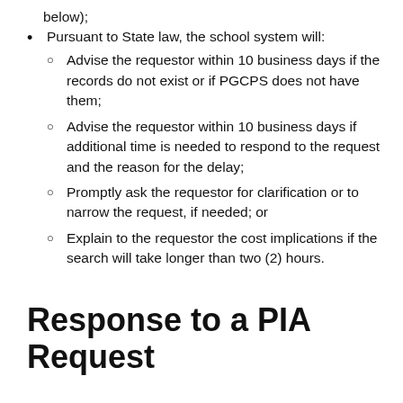below);
Pursuant to State law, the school system will:
Advise the requestor within 10 business days if the records do not exist or if PGCPS does not have them;
Advise the requestor within 10 business days if additional time is needed to respond to the request and the reason for the delay;
Promptly ask the requestor for clarification or to narrow the request, if needed; or
Explain to the requestor the cost implications if the search will take longer than two (2) hours.
Response to a PIA Request